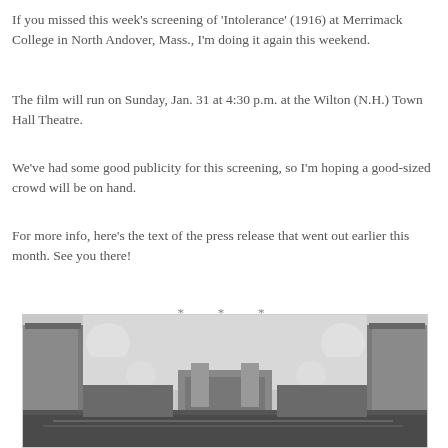If you missed this week's screening of 'Intolerance' (1916) at Merrimack College in North Andover, Mass., I'm doing it again this weekend.
The film will run on Sunday, Jan. 31 at 4:30 p.m. at the Wilton (N.H.) Town Hall Theatre.
We've had some good publicity for this screening, so I'm hoping a good-sized crowd will be on hand.
For more info, here's the text of the press release that went out earlier this month. See you there!
* * *
[Figure (photo): Black and white still from the 1916 film 'Intolerance' showing large elephant statues on columns flanking an elaborate set, with a crowd visible in the foreground.]